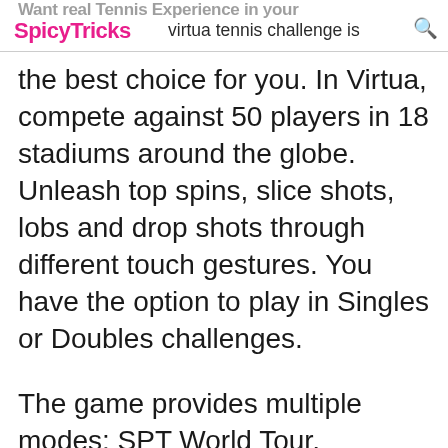SpicyTricks virtua tennis challenge is
the best choice for you. In Virtua, compete against 50 players in 18 stadiums around the globe. Unleash top spins, slice shots, lobs and drop shots through different touch gestures. You have the option to play in Singles or Doubles challenges.
The game provides multiple modes: SPT World Tour, Exception Matches, multiplayer, quick match mode and training mode.